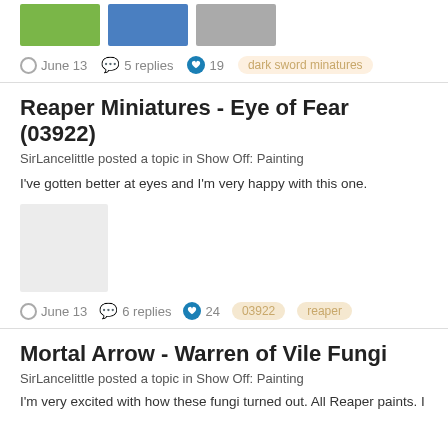[Figure (photo): Three miniature figure thumbnails on bases]
June 13  5 replies  19  dark sword minatures
Reaper Miniatures - Eye of Fear (03922)
SirLancelittle posted a topic in Show Off: Painting
I've gotten better at eyes and I'm very happy with this one.
[Figure (photo): Gray placeholder image for miniature]
June 13  6 replies  24  03922  reaper
Mortal Arrow - Warren of Vile Fungi
SirLancelittle posted a topic in Show Off: Painting
I'm very excited with how these fungi turned out. All Reaper paints. I